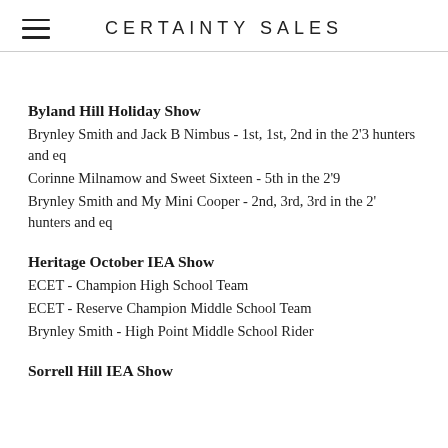CERTAINTY SALES
Byland Hill Holiday Show
Brynley Smith and Jack B Nimbus - 1st, 1st, 2nd in the 2'3 hunters and eq
Corinne Milnamow and Sweet Sixteen - 5th in the 2'9
Brynley Smith and My Mini Cooper - 2nd, 3rd, 3rd in the 2' hunters and eq
Heritage October IEA Show
ECET - Champion High School Team
ECET - Reserve Champion Middle School Team
Brynley Smith - High Point Middle School Rider
Sorrell Hill IEA Show